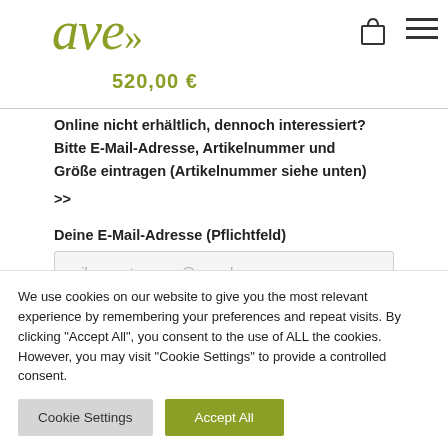ave» 520,00 €
Online nicht erhältlich, dennoch interessiert?
Bitte E-Mail-Adresse, Artikelnummer und Größe eintragen (Artikelnummer siehe unten)
>>
Deine E-Mail-Adresse (Pflichtfeld)
erika.mustermann@gmx.de
We use cookies on our website to give you the most relevant experience by remembering your preferences and repeat visits. By clicking "Accept All", you consent to the use of ALL the cookies. However, you may visit "Cookie Settings" to provide a controlled consent.
Cookie Settings | Accept All